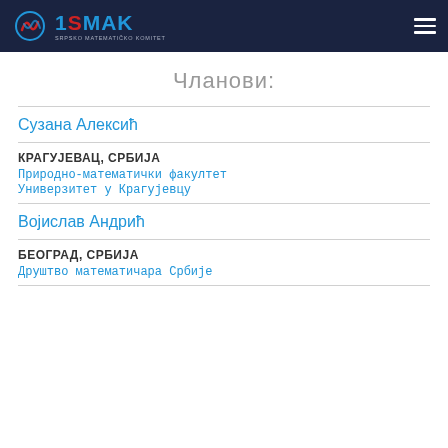[Figure (logo): ISMAK logo with stylized icon and subtitle text on dark navy header bar]
Чланови:
Сузана Алексић
КРАГУЈЕВАЦ, СРБИЈА
Природно-математички факултет
Универзитет у Крагујевцу
Војислав Андрић
БЕОГРАД, СРБИЈА
Друштво математичара Србије